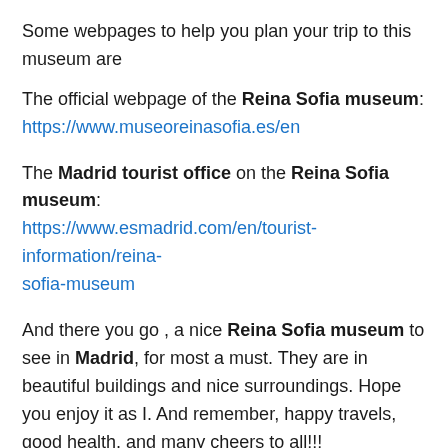Some webpages to help you plan your trip to this museum are
The official webpage of the Reina Sofia museum:
https://www.museoreinasofia.es/en
The Madrid tourist office on the Reina Sofia museum:
https://www.esmadrid.com/en/tourist-information/reina-sofia-museum
And there you go , a nice Reina Sofia museum to see in Madrid, for most a must. They are in beautiful buildings and nice surroundings. Hope you enjoy it as I. And remember, happy travels, good health, and many cheers to all!!!
Rate this: